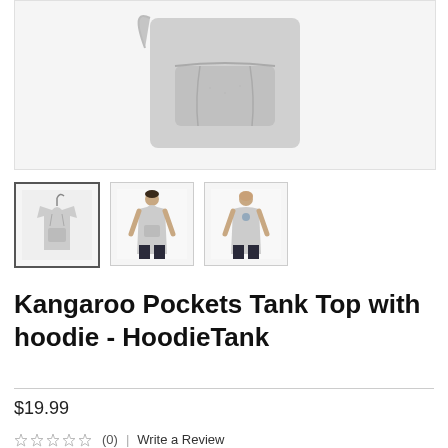[Figure (photo): Main product image of a grey sleeveless hoodie tank top showing the kangaroo pocket area, on white background]
[Figure (photo): Thumbnail 1: Grey sleeveless hoodie tank top on hanger, front view]
[Figure (photo): Thumbnail 2: Man wearing grey sleeveless hoodie tank top, front view]
[Figure (photo): Thumbnail 3: Man wearing grey sleeveless hoodie tank top, back view]
Kangaroo Pockets Tank Top with hoodie - HoodieTank
$19.99
(0)   Write a Review